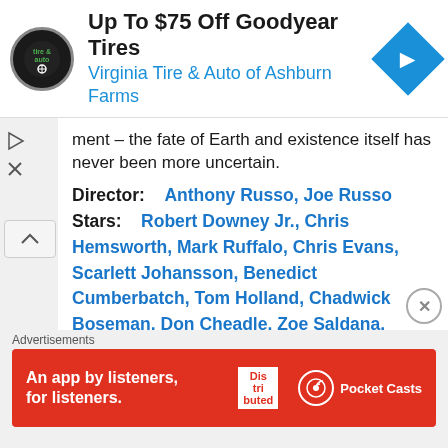[Figure (infographic): Top advertisement banner: Virginia Tire & Auto logo (circular), text 'Up To $75 Off Goodyear Tires' and 'Virginia Tire & Auto of Ashburn Farms', blue navigation diamond icon on right]
ment – the fate of Earth and existence itself has never been more uncertain.
Director:    Anthony Russo, Joe Russo
Stars:    Robert Downey Jr., Chris Hemsworth, Mark Ruffalo, Chris Evans, Scarlett Johansson, Benedict Cumberbatch, Tom Holland, Chadwick Boseman, Don Cheadle, Zoe Saldana, Karen Gillan, Elizabeth Olsen, Paul Bettany, Anthony Mackie, Sebastian Stan, Tom Hiddleston, Idris Elba, Danai Gurira, Peter Dinklage,
Advertisements
[Figure (infographic): Bottom advertisement banner: red background, 'An app by listeners, for listeners.' text, 'Dis tri buted' logo image (phone), Pocket Casts logo and text]